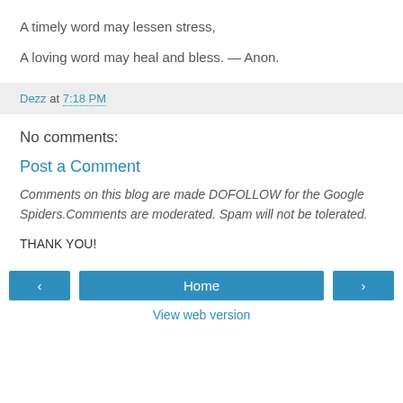A timely word may lessen stress,
A loving word may heal and bless. — Anon.
Dezz at 7:18 PM
No comments:
Post a Comment
Comments on this blog are made DOFOLLOW for the Google Spiders.Comments are moderated. Spam will not be tolerated.
THANK YOU!
‹  Home  ›  View web version